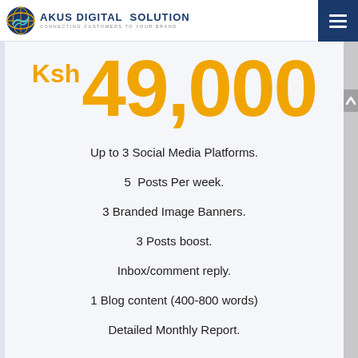AKUS DIGITAL SOLUTION — CONNECTING CUSTOMERS TO YOUR BRAND
Ksh 49,000
Up to 3 Social Media Platforms.
5  Posts Per week.
3 Branded Image Banners.
3 Posts boost.
Inbox/comment reply.
1 Blog content (400-800 words)
Detailed Monthly Report.